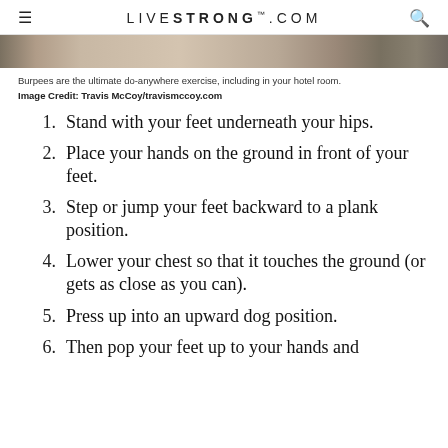LIVESTRONG.COM
[Figure (photo): Partial view of a person doing a burpee exercise, showing a horizontal strip of the image]
Burpees are the ultimate do-anywhere exercise, including in your hotel room.
Image Credit: Travis McCoy/travismccoy.com
Stand with your feet underneath your hips.
Place your hands on the ground in front of your feet.
Step or jump your feet backward to a plank position.
Lower your chest so that it touches the ground (or gets as close as you can).
Press up into an upward dog position.
Then pop your feet up to your hands and